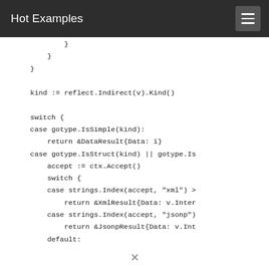Hot Examples
}
        }
    }

    kind := reflect.Indirect(v).Kind()

    switch {
    case gotype.IsSimple(kind):
        return &DataResult{Data: i}
    case gotype.IsStruct(kind) || gotype.Is
        accept := ctx.Accept()
        switch {
        case strings.Index(accept, "xml") >
            return &XmlResult{Data: v.Inter
        case strings.Index(accept, "jsonp")
            return &JsonpResult{Data: v.Int
        default: